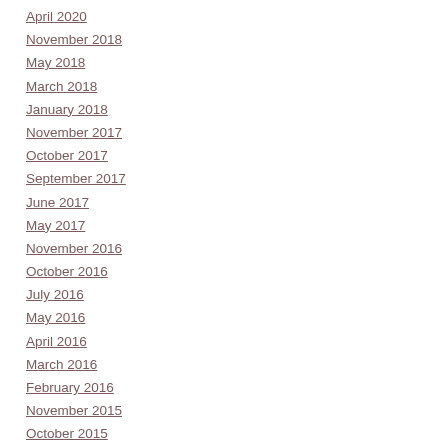April 2020
November 2018
May 2018
March 2018
January 2018
November 2017
October 2017
September 2017
June 2017
May 2017
November 2016
October 2016
July 2016
May 2016
April 2016
March 2016
February 2016
November 2015
October 2015